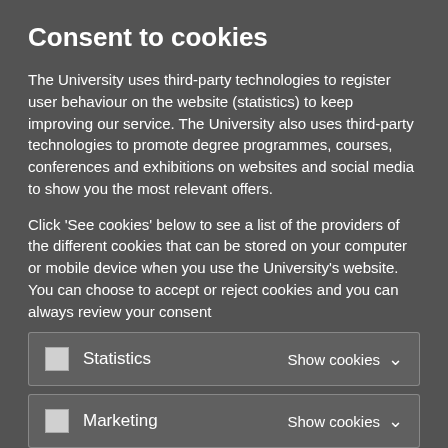Consent to cookies
The University uses third-party technologies to register user behaviour on the website (statistics) to keep improving our service. The University also uses third-party technologies to promote degree programmes, courses, conferences and exhibitions on websites and social media to show you the most relevant offers.
Click 'See cookies' below to see a list of the providers of the different cookies that can be stored on your computer or mobile device when you use the University's website. You can choose to accept or reject cookies and you can always review your consent
| Statistics | Show cookies |
| Marketing | Show cookies |